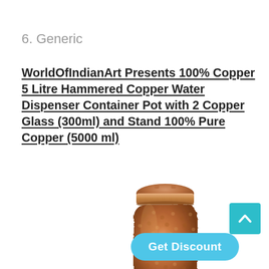6. Generic
WorldOfIndianArt Presents 100% Copper 5 Litre Hammered Copper Water Dispenser Container Pot with 2 Copper Glass (300ml) and Stand 100% Pure Copper (5000 ml)
[Figure (photo): A hammered copper water dispenser/container pot with a rounded lid, showing a textured copper surface with a rosé-gold/copper color tone.]
Get Discount